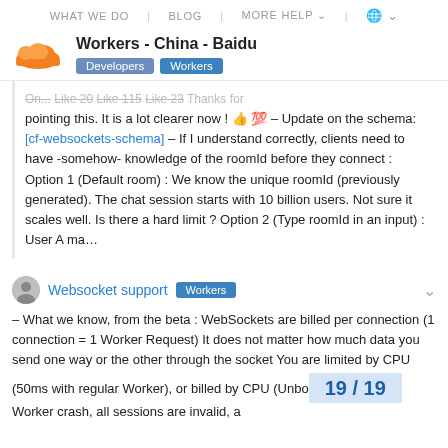WHAT WE DO | BLOG | MORE HELP | 🌐
Workers - China - Baidu
Developers Workers
... pointing this. It is a lot clearer now ! 👍 💯 – Update on the schema: [cf-websockets-schema] – If I understand correctly, clients need to have -somehow- knowledge of the roomId before they connect : Option 1 (Default room) : We know the unique roomId (previously generated). The chat session starts with 10 billion users. Not sure it scales well. Is there a hard limit ? Option 2 (Type roomId in an input) : User A ma…
Websocket support Workers
– What we know, from the beta : WebSockets are billed per connection (1 connection = 1 Worker Request) It does not matter how much data you send one way or the other through the socket You are limited by CPU (50ms with regular Worker), or billed by CPU (Unbo... Worker crash, all sessions are invalid, a...
19 / 19